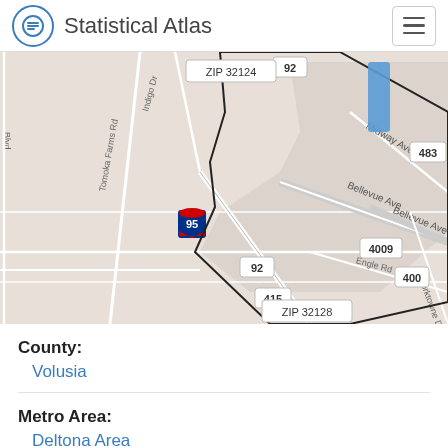Statistical Atlas
[Figure (map): Street map showing ZIP code 32128 area near Daytona Beach, Florida, with roads including Midway Ave, Bellevue Ave, Tomoka Farms Rd, Indigo Dr, Interstate 95, and route markers 92, 483, 415, 400, 4009. ZIP 32124 labeled at top, ZIP 32128 labeled at bottom center. A blue highlighted area visible in upper right.]
County: Volusia
Metro Area: Deltona Area
Cities: Daytona Beach, South Daytona